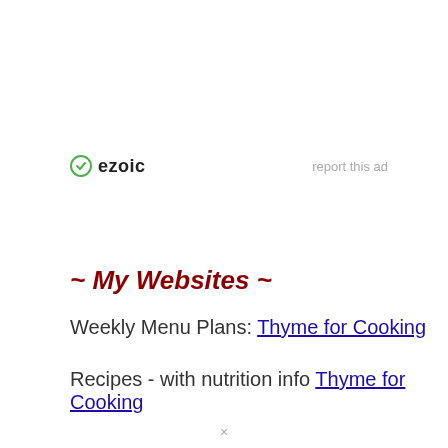[Figure (logo): Ezoic logo with green circular icon and bold 'ezoic' text, plus 'report this ad' link on the right]
~ My Websites ~
Weekly Menu Plans: Thyme for Cooking
Recipes - with nutrition info Thyme for Cooking